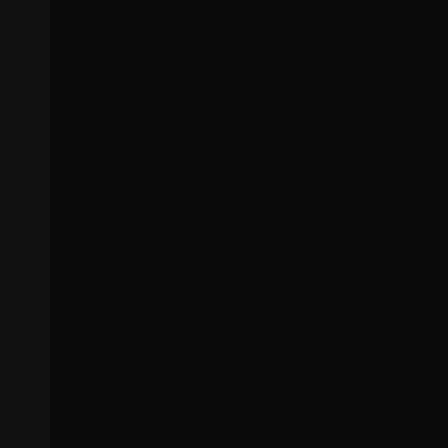Update Game Downloader
CyberGames Network 1.33
- Updated Anti-Hack
CyberGames Network 1.32.1
- Fixed minor bugs
CyberGames Network 1.32
- Added